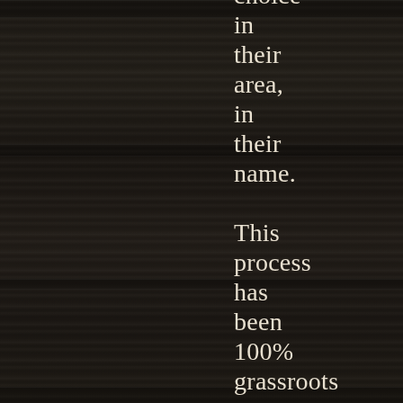choice in their area, in their name.

This process has been 100% grassroots to this point, but we feel